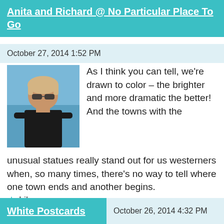Anita and Richard @ No Particular Place To Go
October 27, 2014 1:52 PM
[Figure (photo): Avatar photo of a woman with short blonde hair and sunglasses, wearing a black top, with blue water background]
As I think you can tell, we're drawn to color – the brighter and more dramatic the better! And the towns with the unusual statues really stand out for us westerners when, so many times, there's no way to tell where one town ends and another begins.
Like
Reply
White Postcards
October 26, 2014 4:32 PM